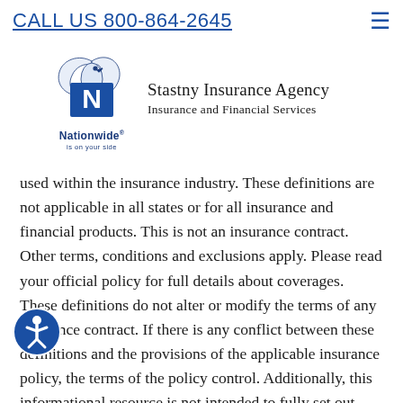CALL US 800-864-2645
[Figure (logo): Nationwide Insurance logo with eagle and stylized N, along with Stastny Insurance Agency – Insurance and Financial Services text]
used within the insurance industry. These definitions are not applicable in all states or for all insurance and financial products. This is not an insurance contract. Other terms, conditions and exclusions apply. Please read your official policy for full details about coverages. These definitions do not alter or modify the terms of any insurance contract. If there is any conflict between these definitions and the provisions of the applicable insurance policy, the terms of the policy control. Additionally, this informational resource is not intended to fully set out your